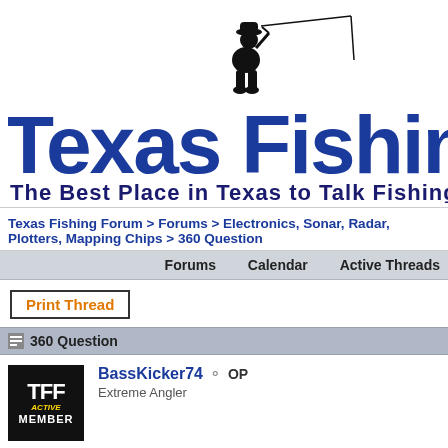[Figure (logo): Texas Fishing logo with silhouette of fisherman on top, bold dark blue 'Texas Fishing' text, and subtitle 'The Best Place in Texas to Talk Fishing']
Texas Fishing Forum > Forums > Electronics, Sonar, Radar, Plotters, Mapping Chips > 360 Question
Forums   Calendar   Active Threads
Print Thread
360 Question
BassKicker74 OP
Extreme Angler